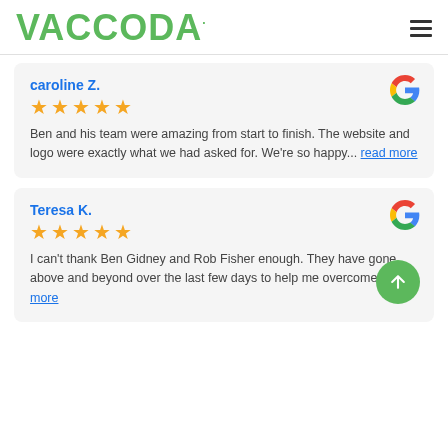VACCODA.
caroline Z.
★★★★★
Ben and his team were amazing from start to finish. The website and logo were exactly what we had asked for. We're so happy... read more
Teresa K.
★★★★★
I can't thank Ben Gidney and Rob Fisher enough. They have gone above and beyond over the last few days to help me overcome... read more